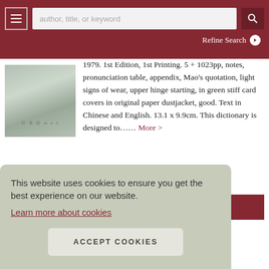author, title, or keyword | Refine Search
[Figure (photo): Book cover image with green/grey textured background and Chinese characters]
1979. 1st Edition, 1st Printing. 5 + 1023pp, notes, pronunciation table, appendix, Mao's quotation, light signs of wear, upper hinge starting, in green stiff card covers in original paper dustjacket, good. Text in Chinese and English. 13.1 x 9.9cm. This dictionary is designed to..... More >
ADD TO CART
This website uses cookies to ensure you get the best experience on our website.
Learn more about cookies
ACCEPT COOKIES